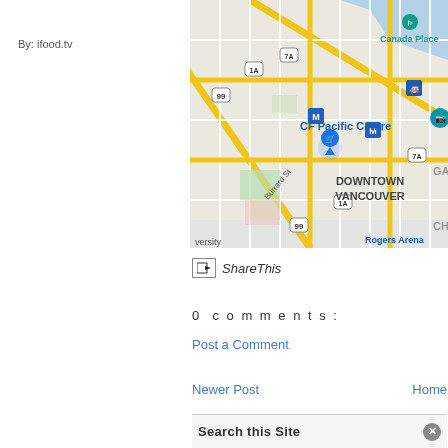By: ifood.tv
[Figure (map): Google Maps screenshot showing Downtown Vancouver with CF Pacific Centre, Canada Place, Rogers Arena, Burrard St, and highway markers (99, 1A, 7A).]
ShareThis
0 comments:
Post a Comment
Newer Post
Home
Search this Site